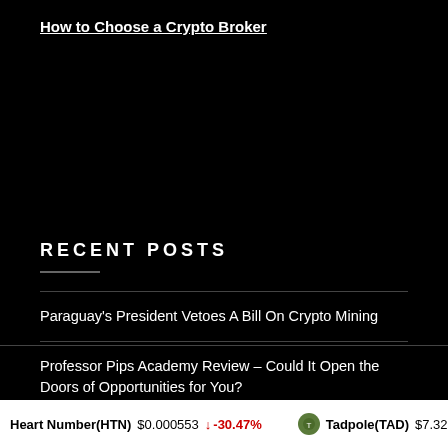How to Choose a Crypto Broker
RECENT POSTS
Paraguay's President Vetoes A Bill On Crypto Mining
Professor Pips Academy Review – Could It Open the Doors of Opportunities for You?
Veve And Marvel Partner To Drop Marvel Artworks NFT Collection
Heart Number(HTN) $0.000553 ↓ -30.47%   Tadpole(TAD) $7.32